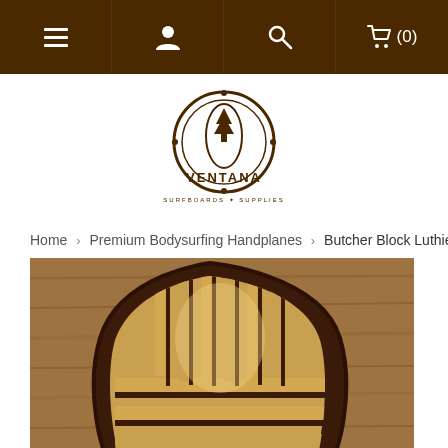Navigation bar with menu, account, search, and cart (0) icons
[Figure (logo): Ventana Surfboards & Supplies logo — circular badge with surfboard shape, pine tree, and compass design in brown and white]
Home > Premium Bodysurfing Handplanes > Butcher Block Luthier Handplane
[Figure (photo): Close-up photo of a wooden handplane (Butcher Block Luthier Handplane) showing alternating light and dark wood strips in an arched/gothic window pattern with a glossy finish, against a rough wooden background]